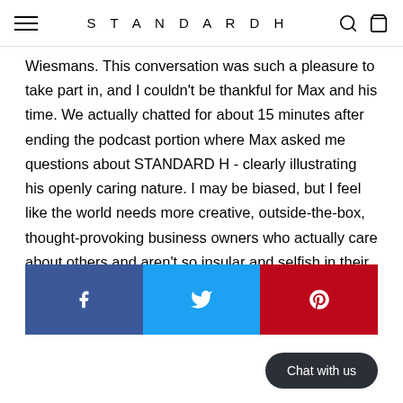STANDARDH
Wiesmans. This conversation was such a pleasure to take part in, and I couldn't be thankful for Max and his time. We actually chatted for about 15 minutes after ending the podcast portion where Max asked me questions about STANDARD H - clearly illustrating his openly caring nature. I may be biased, but I feel like the world needs more creative, outside-the-box, thought-provoking business owners who actually care about others and aren't so insular and selfish in their thinking. In other words, more people like Max.
[Figure (other): Social sharing buttons: Facebook (blue), Twitter (light blue), Pinterest (red)]
Chat with us